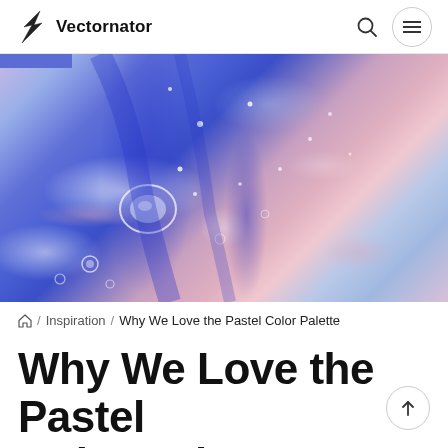Vectornator
[Figure (photo): Close-up macro photo of fluid acrylic paint pour art showing swirling blue, pink, and white pastel colors with circular bubble formations and flowing wave-like patterns]
⌂ / Inspiration / Why We Love the Pastel Color Palette
Why We Love the Pastel Color Palette